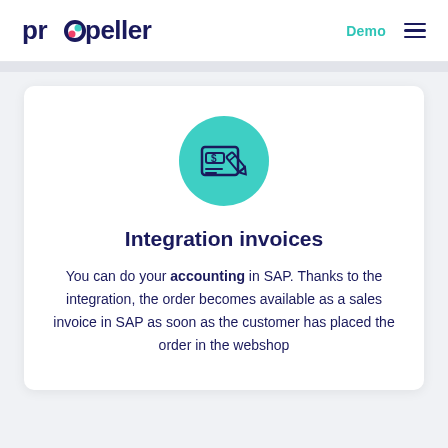propeller   Demo ☰
[Figure (illustration): Teal/green circular icon containing a check/invoice document with a dollar sign and a pen, representing integration invoices]
Integration invoices
You can do your accounting in SAP. Thanks to the integration, the order becomes available as a sales invoice in SAP as soon as the customer has placed the order in the webshop